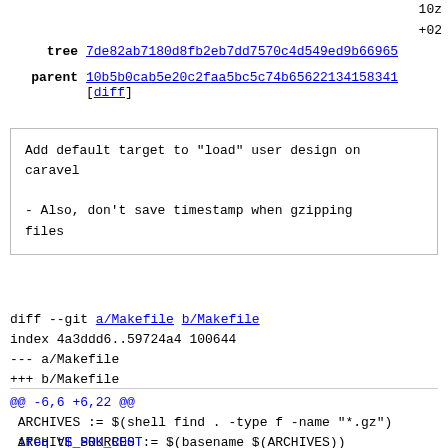10z
+02
tree  7de82ab7180d8fb2eb7dd7570c4d549ed9b66965
parent  10b5b0cab5e20c2faa5bc5c74b65622134158341
[diff]
Add default target to "load" user design on
caravel

- Also, don't save timestamp when gzipping
files
diff --git a/Makefile b/Makefile
index 4a3ddd6..59724a4 100644
--- a/Makefile
+++ b/Makefile
@@ -6,6 +6,22 @@
 ARCHIVES := $(shell find . -type f -name "*.gz")
 ARCHIVE_SOURCES := $(basename $(ARCHIVES))

 ifeq t$ PRK_R00T